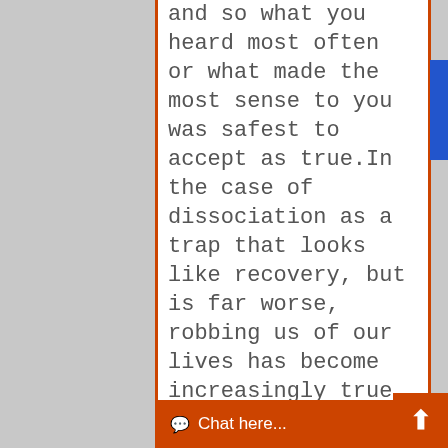and so what you heard most often or what made the most sense to you was safest to accept as true.In the case of dissociation as a trap that looks like recovery, but is far worse, robbing us of our lives has become increasingly true. A group of people say they have found recovery together if questioned si... h...